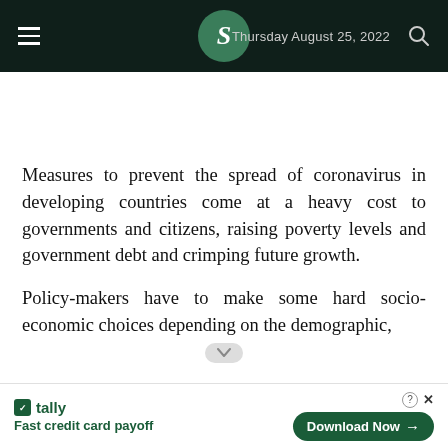Thursday August 25, 2022
Measures to prevent the spread of coronavirus in developing countries come at a heavy cost to governments and citizens, raising poverty levels and government debt and crimping future growth.
Policy-makers have to make some hard socio-economic choices depending on the demographic,
[Figure (other): Tally advertisement banner: Fast credit card payoff — Download Now button]